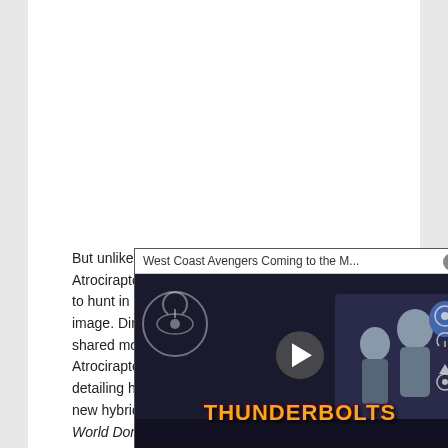But unlike Velociraptors, Atrociraptors make them easy to hunt in more herds. The image. Director Colin Trevorrow shared more details about the Atrociraptor with Empire, detailing how this evidence the new hybrid species in Jurassic World Dominion. Very deadly.
[Figure (screenshot): Video overlay popup showing 'West Coast Avengers Coming to the M...' title with Thunderbolts movie imagery including characters and the Thunderbolts logo. Has a play button in the center and a close (X) button in the top right corner.]